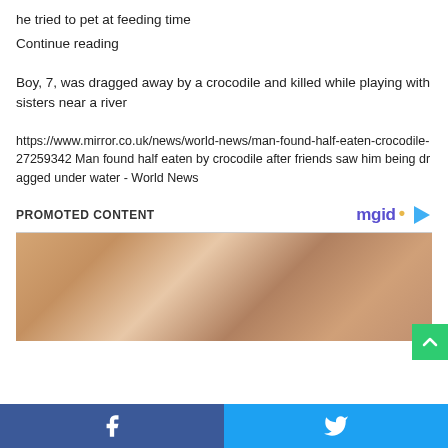he tried to pet at feeding time
Continue reading
Boy, 7, was dragged away by a crocodile and killed while playing with sisters near a river
https://www.mirror.co.uk/news/world-news/man-found-half-eaten-crocodile-27259342 Man found half eaten by crocodile after friends saw him being dragged under water - World News
PROMOTED CONTENT
[Figure (photo): Close-up photo of skin/body, promotional content image]
[Figure (logo): mgid logo with arrow icon]